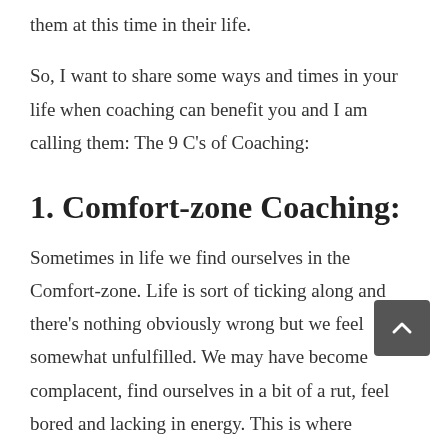them at this time in their life.
So, I want to share some ways and times in your life when coaching can benefit you and I am calling them: The 9 C's of Coaching:
1. Comfort-zone Coaching:
Sometimes in life we find ourselves in the Comfort-zone. Life is sort of ticking along and there's nothing obviously wrong but we feel somewhat unfulfilled. We may have become complacent, find ourselves in a bit of a rut, feel bored and lacking in energy. This is where coaching can really help us to reconnect with what's important to us, what